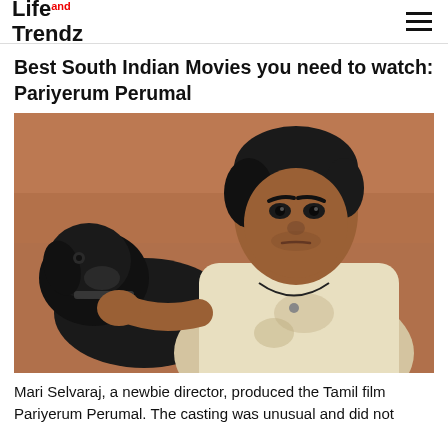Life and Trendz
Best South Indian Movies you need to watch: Pariyerum Perumal
[Figure (photo): A young man in a dirty white t-shirt holding a black dog, looking intensely at the camera, with a reddish-brown earthy background. Scene from Tamil film Pariyerum Perumal.]
Mari Selvaraj, a newbie director, produced the Tamil film Pariyerum Perumal. The casting was unusual and did not